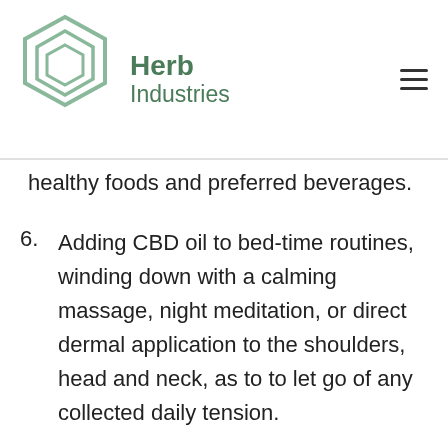Herb Industries
healthy foods and preferred beverages.
6. Adding CBD oil to bed-time routines, winding down with a calming massage, night meditation, or direct dermal application to the shoulders, head and neck, as to to let go of any collected daily tension.
7. CBD's high content of vitamin E and fatty acids provides a great way to nourish the